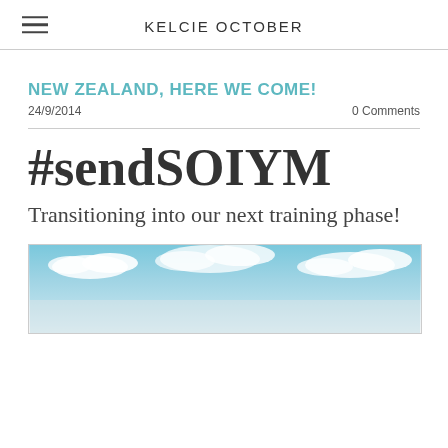KELCIE OCTOBER
NEW ZEALAND, HERE WE COME!
24/9/2014    0 Comments
#sendSOIYM
Transitioning into our next training phase!
[Figure (photo): Sky with clouds, partially visible at bottom of page]